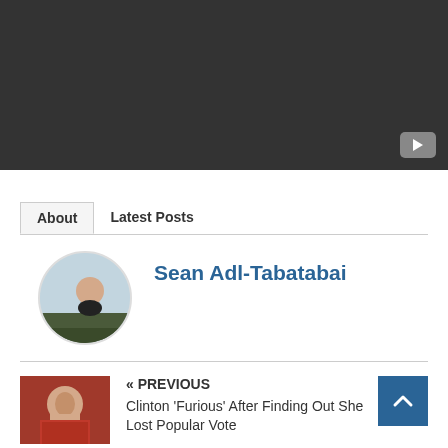[Figure (screenshot): Dark video placeholder with YouTube icon in bottom right corner]
About | Latest Posts
Sean Adl-Tabatabai
[Figure (photo): Circular profile photo of Sean Adl-Tabatabai, a person standing outdoors in a field]
[Figure (photo): Thumbnail photo of Hillary Clinton looking serious, wearing red]
« PREVIOUS
Clinton 'Furious' After Finding Out She Lost Popular Vote